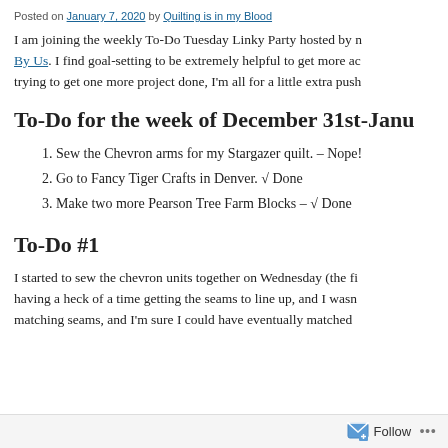Posted on January 7, 2020 by Quilting is in my Blood
I am joining the weekly To-Do Tuesday Linky Party hosted by n... By Us. I find goal-setting to be extremely helpful to get more ac... trying to get one more project done, I'm all for a little extra push.
To-Do for the week of December 31st-Janu...
1. Sew the Chevron arms for my Stargazer quilt. – Nope!
2. Go to Fancy Tiger Crafts in Denver. √ Done
3. Make two more Pearson Tree Farm Blocks – √ Done
To-Do #1
I started to sew the chevron units together on Wednesday (the fi... having a heck of a time getting the seams to line up, and I wasn... matching seams, and I'm sure I could have eventually matched...
Follow ...